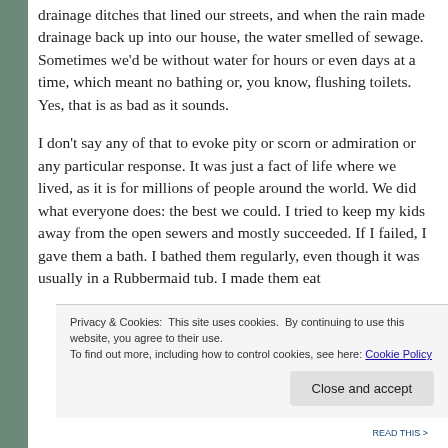drainage ditches that lined our streets, and when the rain made drainage back up into our house, the water smelled of sewage. Sometimes we'd be without water for hours or even days at a time, which meant no bathing or, you know, flushing toilets. Yes, that is as bad as it sounds.
I don't say any of that to evoke pity or scorn or admiration or any particular response. It was just a fact of life where we lived, as it is for millions of people around the world. We did what everyone does: the best we could. I tried to keep my kids away from the open sewers and mostly succeeded. If I failed, I gave them a bath. I bathed them regularly, even though it was usually in a Rubbermaid tub. I made them eat their vegetables and drink their milk, and when we got food
Privacy & Cookies: This site uses cookies. By continuing to use this website, you agree to their use.
To find out more, including how to control cookies, see here: Cookie Policy